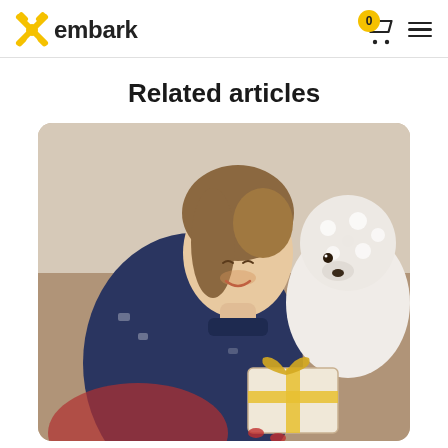embark
Related articles
[Figure (photo): A smiling woman in a blue Nordic/reindeer pattern sweater holding a small gift box with a yellow ribbon bow, with a fluffy white poodle sniffing or touching the gift box beside her]